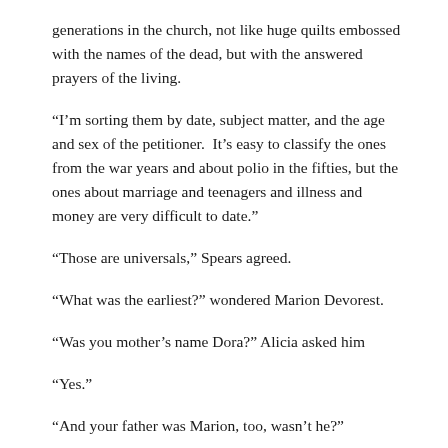generations in the church, not like huge quilts embossed with the names of the dead, but with the answered prayers of the living.
“I’m sorting them by date, subject matter, and the age and sex of the petitioner.  It’s easy to classify the ones from the war years and about polio in the fifties, but the ones about marriage and teenagers and illness and money are very difficult to date.”
“Those are universals,” Spears agreed.
“What was the earliest?” wondered Marion Devorest.
“Was you mother’s name Dora?” Alicia asked him
“Yes.”
“And your father was Marion, too, wasn’t he?”
“Yes.  Why?”